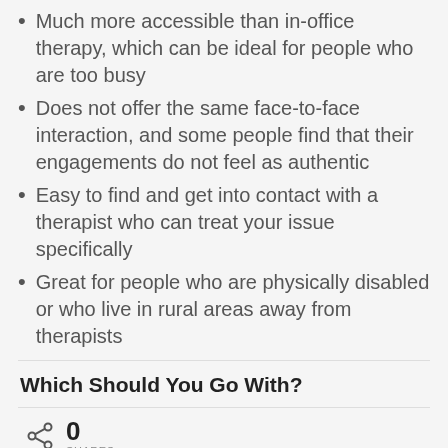Much more accessible than in-office therapy, which can be ideal for people who are too busy
Does not offer the same face-to-face interaction, and some people find that their engagements do not feel as authentic
Easy to find and get into contact with a therapist who can treat your issue specifically
Great for people who are physically disabled or who live in rural areas away from therapists
Which Should You Go With?
0 SHARES